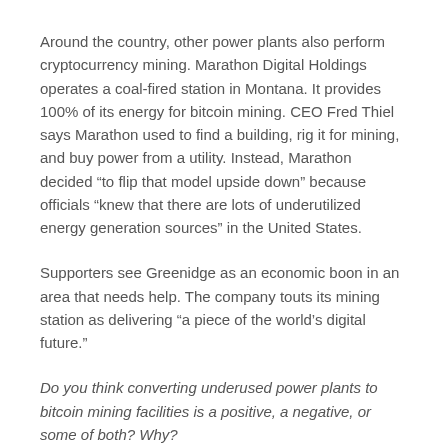Around the country, other power plants also perform cryptocurrency mining. Marathon Digital Holdings operates a coal-fired station in Montana. It provides 100% of its energy for bitcoin mining. CEO Fred Thiel says Marathon used to find a building, rig it for mining, and buy power from a utility. Instead, Marathon decided “to flip that model upside down” because officials “knew that there are lots of underutilized energy generation sources” in the United States.
Supporters see Greenidge as an economic boon in an area that needs help. The company touts its mining station as delivering “a piece of the world’s digital future.”
Do you think converting underused power plants to bitcoin mining facilities is a positive, a negative, or some of both? Why?
Why? Human actions start with causes and have effects,